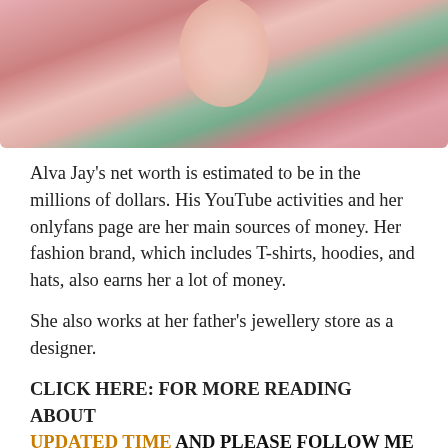[Figure (photo): Cropped photo showing a person in pink clothing with floral background]
Alva Jay's net worth is estimated to be in the millions of dollars. His YouTube activities and her onlyfans page are her main sources of money. Her fashion brand, which includes T-shirts, hoodies, and hats, also earns her a lot of money.
She also works at her father's jewellery store as a designer.
CLICK HERE: FOR MORE READING ABOUT UPDATED TIME AND PLEASE FOLLOW ME ON FACEBOOK, TWITTER